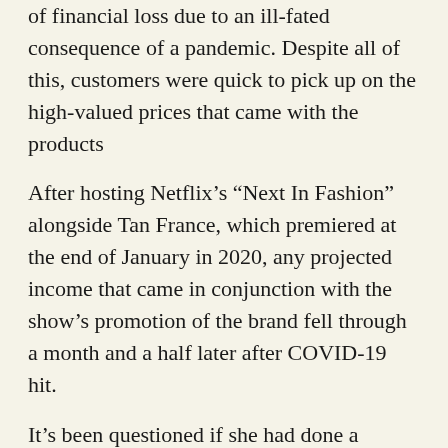of financial loss due to an ill-fated consequence of a pandemic. Despite all of this, customers were quick to pick up on the high-valued prices that came with the products
After hosting Netflix's “Next In Fashion” alongside Tan France, which premiered at the end of January in 2020, any projected income that came in conjunction with the show’s promotion of the brand fell through a month and a half later after COVID-19 hit.
It’s been questioned if she had done a collaboration with a less well-known and affordable company that profits would have increased. And where she doesn’t plan on writing off a further career in fashion — “my enthusiasm for fashion remains undimmed,” Chung said — her transatlantic style has proven amiable for nearly two decades, and I would guarantee a few more